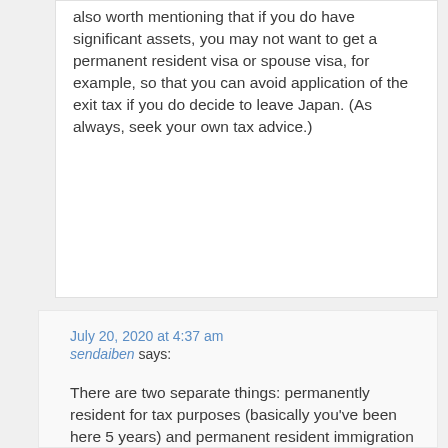also worth mentioning that if you do have significant assets, you may not want to get a permanent resident visa or spouse visa, for example, so that you can avoid application of the exit tax if you do decide to leave Japan. (As always, seek your own tax advice.)
July 20, 2020 at 4:37 am
sendaiben says:
There are two separate things: permanently resident for tax purposes (basically you've been here 5 years) and permanent resident immigration status (you applied for and got the permanent resident status). The two have nothing to do with one another but